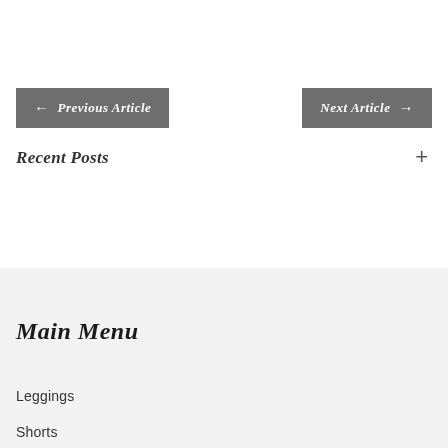← Previous Article
Next Article →
Recent Posts
+
Main Menu
Leggings
Shorts
Sports Bra